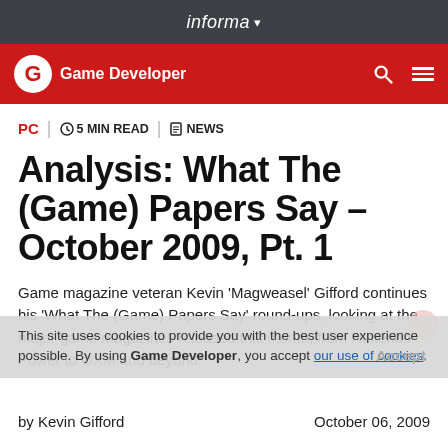informa
Game Developer
PC | 5 MIN READ | NEWS
Analysis: What The (Game) Papers Say - October 2009, Pt. 1
Game magazine veteran Kevin 'Magweasel' Gifford continues his 'What The (Game) Papers Say' round-ups, looking at the major game magazines released this month, from Nintendo Power to OXM and beyond.
This site uses cookies to provide you with the best user experience possible. By using Game Developer, you accept our use of cookies.
by Kevin Gifford
October 06, 2009